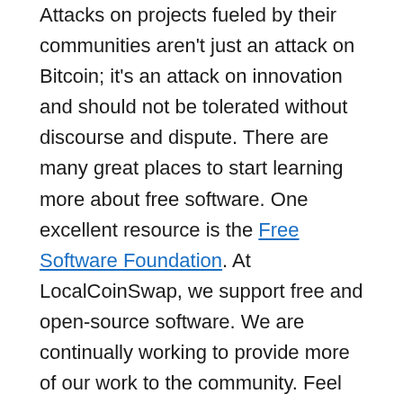Attacks on projects fueled by their communities aren't just an attack on Bitcoin; it's an attack on innovation and should not be tolerated without discourse and dispute. There are many great places to start learning more about free software. One excellent resource is the Free Software Foundation. At LocalCoinSwap, we support free and open-source software. We are continually working to provide more of our work to the community. Feel free to visit our GitHub to learn, fork, and build upon our repositories yourself.
Our response to this matter is quite simple. LocalCoinSwap is committed to supporting Bitcoin, not just on-chain but off-chain as well. For this reason, we have decided to host the Bitcoin whitepaper as a